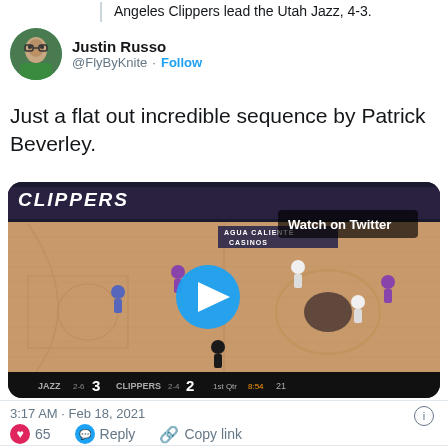Angeles Clippers lead the Utah Jazz, 4-3.
Justin Russo @FlyByKnite · Follow
Just a flat out incredible sequence by Patrick Beverley.
[Figure (screenshot): Basketball game video thumbnail showing Clippers vs Jazz on NBA court with play button overlay and scoreboard showing JAZZ 3 CLIPPERS 2 1st Qtr 8:54 21. Watch on Twitter badge visible.]
3:17 AM · Feb 18, 2021
65  Reply  Copy link